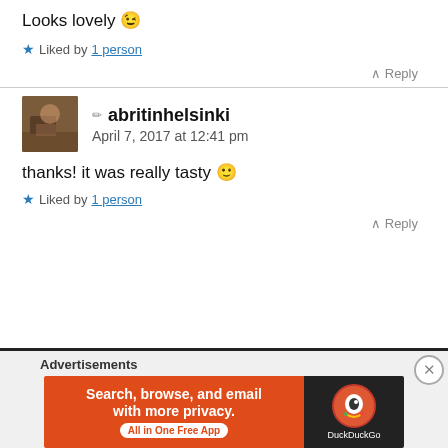Looks lovely 😉
★ Liked by 1 person
∧ Reply
abritinhelsinki
April 7, 2017 at 12:41 pm
[Figure (photo): Avatar photo of abritinhelsinki user]
thanks! it was really tasty 🙂
★ Liked by 1 person
∧ Reply
[Figure (infographic): DuckDuckGo advertisement banner: Search, browse, and email with more privacy. All in One Free App.]